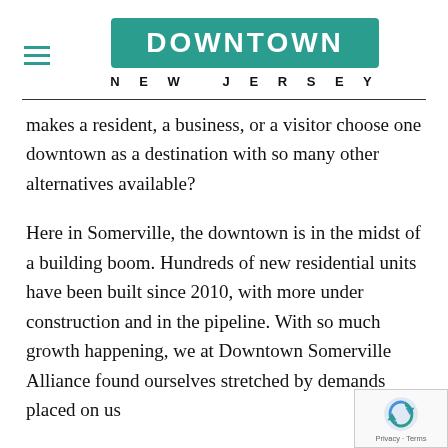DOWNTOWN NEW JERSEY
makes a resident, a business, or a visitor choose one downtown as a destination with so many other alternatives available?
Here in Somerville, the downtown is in the midst of a building boom. Hundreds of new residential units have been built since 2010, with more under construction and in the pipeline. With so much growth happening, we at Downtown Somerville Alliance found ourselves stretched by demands placed on us